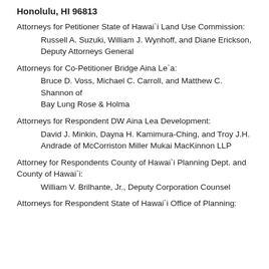Honolulu, HI 96813
Attorneys for Petitioner State of Hawai`i Land Use Commission:
Russell A. Suzuki, William J. Wynhoff, and Diane Erickson, Deputy Attorneys General
Attorneys for Co-Petitioner Bridge Aina Le`a:
Bruce D. Voss, Michael C. Carroll, and Matthew C. Shannon of Bay Lung Rose & Holma
Attorneys for Respondent DW Aina Lea Development:
David J. Minkin, Dayna H. Kamimura-Ching, and Troy J.H. Andrade of McCorriston Miller Mukai MacKinnon LLP
Attorney for Respondents County of Hawai`i Planning Dept. and County of Hawai`i:
William V. Brilhante, Jr., Deputy Corporation Counsel
Attorneys for Respondent State of Hawai`i Office of Planning: